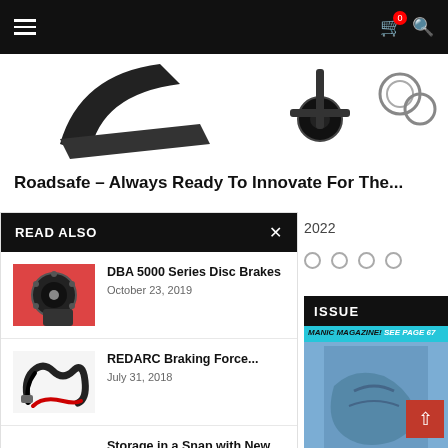Navigation bar with hamburger menu, cart icon with badge 0, and search icon
[Figure (photo): Partial product photo showing black mechanical automotive parts (arms, joints, ring hardware) against white background]
Roadsafe – Always Ready To Innovate For The...
READ ALSO
[Figure (photo): DBA 5000 Series Disc Brakes – disc rotor being held]
DBA 5000 Series Disc Brakes
October 23, 2019
[Figure (photo): REDARC Braking Force – coiled black and red wiring harness]
REDARC Braking Force...
July 31, 2018
[Figure (photo): Storage in a Snap with New Boxes – black plastic storage box]
Storage in a Snap with New Boxes
September 24, 2021
2022
[Figure (other): Four empty circle dots indicating a carousel/slider]
ISSUE
[Figure (photo): Magazine cover photo snippet - MANIC MAGAZINE! SEE PAGE 67 text overlay on blue background, person in gloves]
MANIC MAGAZINE! SEE PAGE 67